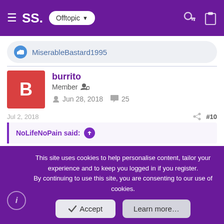SS. Offtopic
MiserableBastard1995
burrito
Member
Jun 28, 2018   25
Jul 2, 2018   #10
NoLifeNoPain said:
This site uses cookies to help personalise content, tailor your experience and to keep you logged in if you register.
By continuing to use this site, you are consenting to our use of cookies.
Accept   Learn more…